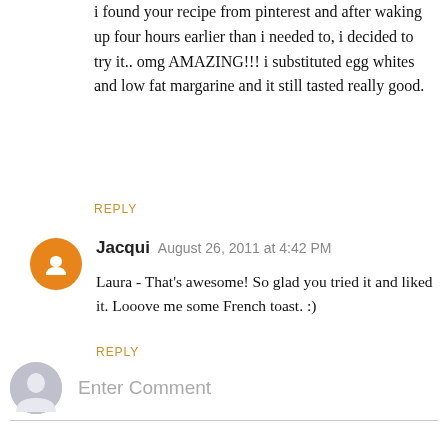i found your recipe from pinterest and after waking up four hours earlier than i needed to, i decided to try it.. omg AMAZING!!! i substituted egg whites and low fat margarine and it still tasted really good.
REPLY
Jacqui  August 26, 2011 at 4:42 PM
Laura - That's awesome! So glad you tried it and liked it. Looove me some French toast. :)
REPLY
Enter Comment